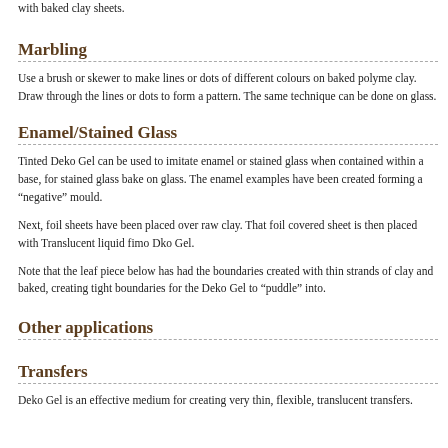with baked clay sheets.
Marbling
Use a brush or skewer to make lines or dots of different colours on baked polymer clay. Draw through the lines or dots to form a pattern. The same technique can be done on glass.
Enamel/Stained Glass
Tinted Deko Gel can be used to imitate enamel or stained glass when contained within a base, for stained glass bake on glass. The enamel examples have been created by forming a “negative” mould.
Next, foil sheets have been placed over raw clay. That foil covered sheet is then pressed with Translucent liquid fimo Dko Gel.
Note that the leaf piece below has had the boundaries created with thin strands of clay and baked, creating tight boundaries for the Deko Gel to “puddle” into.
Other applications
Transfers
Deko Gel is an effective medium for creating very thin, flexible, translucent transfers.